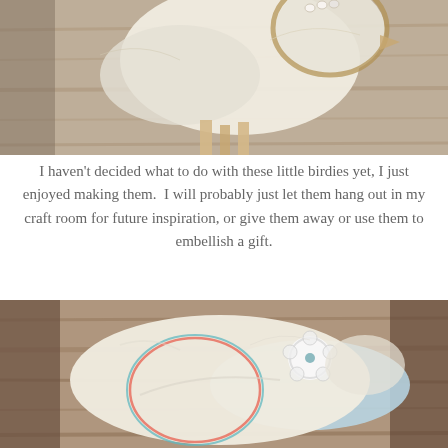[Figure (photo): Close-up photo of a handmade felt bird craft with pearl bead embellishment resting on weathered wood, top photo]
I haven't decided what to do with these little birdies yet, I just enjoyed making them.  I will probably just let them hang out in my craft room for future inspiration, or give them away or use them to embellish a gift.
[Figure (photo): Close-up photo of a handmade felt bird craft with embroidered oval detail and crocheted flower embellishment on light blue felt wing, bottom photo]